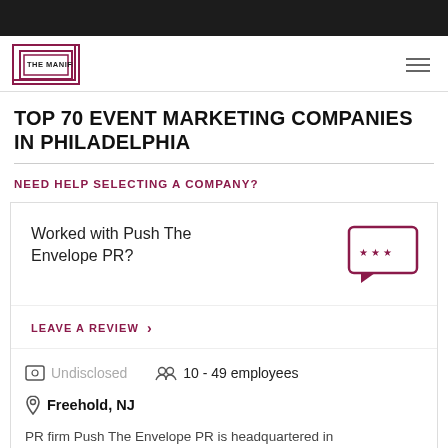[Figure (logo): The Manifest logo - square bracket outline with 'THE MANIFEST' text inside]
TOP 70 EVENT MARKETING COMPANIES IN PHILADELPHIA
NEED HELP SELECTING A COMPANY?
Worked with Push The Envelope PR?
LEAVE A REVIEW >
Undisclosed   10 - 49 employees
Freehold, NJ
PR firm Push The Envelope PR is headquartered in